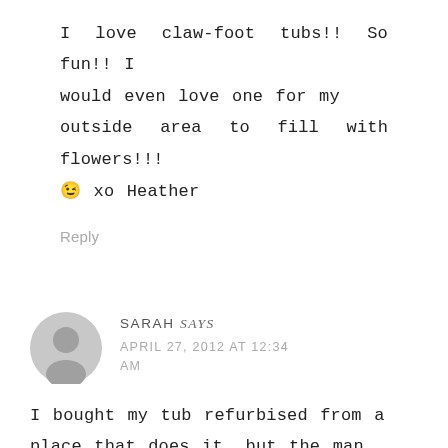I love claw-foot tubs!! So fun!! I would even love one for my outside area to fill with flowers!!! 😉 xo Heather
Reply
SARAH says
APRIL 27, 2012 AT 12:34 AM
I bought my tub refurbised from a place that does it, but the man there told me you just paint the outside with regular latex paint. I